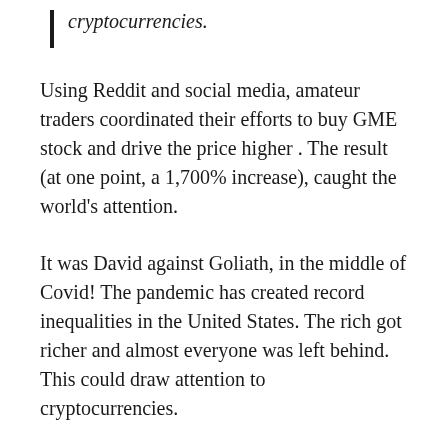cryptocurrencies.
Using Reddit and social media, amateur traders coordinated their efforts to buy GME stock and drive the price higher . The result (at one point, a 1,700% increase), caught the world’s attention.
It was David against Goliath, in the middle of Covid! The pandemic has created record inequalities in the United States. The rich got richer and almost everyone was left behind. This could draw attention to cryptocurrencies.
Robinhood gives up